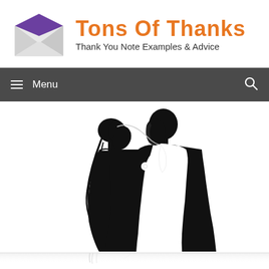[Figure (logo): Tons of Thanks website header logo: envelope icon with purple flap and white body, with orange bold text 'Tons of Thanks' and subtitle 'Thank You Note Examples & Advice']
≡ Menu
[Figure (illustration): Black silhouette illustration of a bride and groom facing each other, bride with curly updo hair and veil, groom in tuxedo with boutonniere, with faint mirror reflection at the bottom]